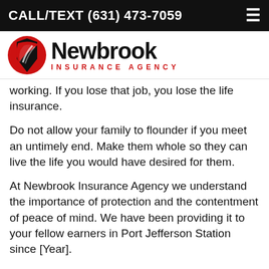CALL/TEXT (631) 473-7059
[Figure (logo): Newbrook Insurance Agency logo with red and black swoosh emblem on the left and 'Newbrook' in bold black text with 'INSURANCE AGENCY' in red spaced letters below]
working. If you lose that job, you lose the life insurance.
Do not allow your family to flounder if you meet an untimely end. Make them whole so they can live the life you would have desired for them.
At Newbrook Insurance Agency we understand the importance of protection and the contentment of peace of mind. We have been providing it to your fellow earners in Port Jefferson Station since [Year].
Complete the Protection Savings Form now and let the professionals at Newbrook Insurance Agency craft a lifeline that will last.